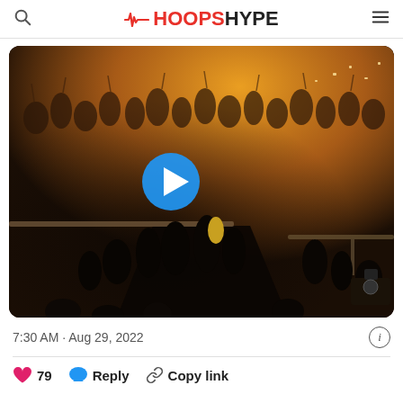HoopsHype
[Figure (screenshot): Video thumbnail showing a large crowd in an arena/venue with warm orange lighting and a blue play button overlay in the center.]
7:30 AM · Aug 29, 2022
79  Reply  Copy link